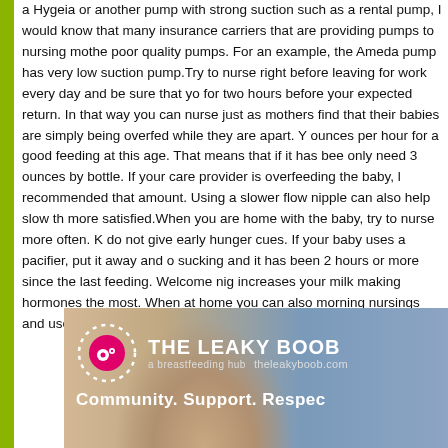a Hygeia or another pump with strong suction such as a rental pump, I would know that many insurance carriers that are providing pumps to nursing mothers poor quality pumps. For an example, the Ameda pump has very low suction pump.Try to nurse right before leaving for work every day and be sure that yo for two hours before your expected return. In that way you can nurse just as mothers find that their babies are simply being overfed while they are apart. Y ounces per hour for a good feeding at this age. That means that if it has bee only need 3 ounces by bottle. If your care provider is overfeeding the baby, l recommended that amount. Using a slower flow nipple can also help slow th more satisfied.When you are home with the baby, try to nurse more often. K do not give early hunger cues. If your baby uses a pacifier, put it away and o sucking and it has been 2 hours or more since the last feeding. Welcome nig increases your milk making hormones the most. When at home you can also morning nursings and use that milk to feed the freezer.
[Figure (photo): The Leaky Boob breastfeeding hub advertisement banner with logo (pink circle with white icon inside dotted ring), brand name THE LEAKY BOOB, subtitle 'a breastfeeding hub' and theleakyboob.com, tagline 'Community. Support. Respec...' with a photo of a woman in the background]